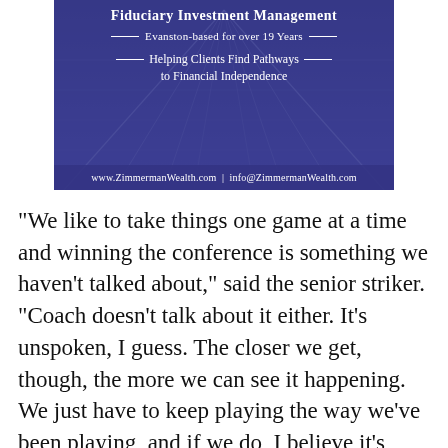[Figure (advertisement): Advertisement for Fiduciary Investment Management / Zimmerman Wealth. Dark blue/purple background with bridge image. Text reads: Evanston-based for over 19 Years — Helping Clients Find Pathways to Financial Independence. Footer: www.ZimmermanWealth.com | info@ZimmermanWealth.com]
“We like to take things one game at a time and winning the conference is something we haven’t talked about,” said the senior striker. “Coach doesn’t talk about it either. It’s unspoken, I guess. The closer we get, though, the more we can see it happening. We just have to keep playing the way we’ve been playing, and if we do, I believe it’s going to happen.”